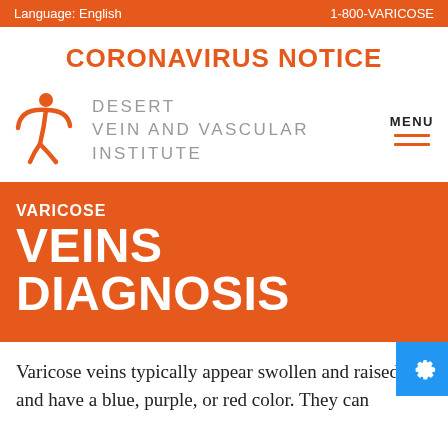Language: English    1-800-VARICOSE
CORONAVIRUS NOTICE
[Figure (logo): Desert Vein and Vascular Institute logo with orange figure and gray text, plus MENU hamburger icon]
VARICOSE VEINS DIAGNOSIS
Varicose veins typically appear swollen and raised, and have a blue, purple, or red color. They can